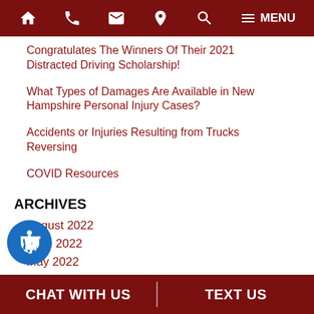Navigation bar with home, phone, email, location, search, and menu icons
Congratulates The Winners Of Their 2021 Distracted Driving Scholarship!
What Types of Damages Are Available in New Hampshire Personal Injury Cases?
Accidents or Injuries Resulting from Trucks Reversing
COVID Resources
ARCHIVES
August 2022
June 2022
May 2022
April 2022
March 2022
CATEGORIES
CHAT WITH US | TEXT US